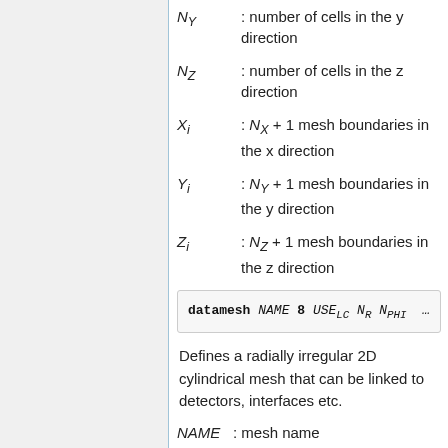N_Y : number of cells in the y direction
N_Z : number of cells in the z direction
X_i : N_X + 1 mesh boundaries in the x direction
Y_i : N_Y + 1 mesh boundaries in the y direction
Z_i : N_Z + 1 mesh boundaries in the z direction
Defines a radially irregular 2D cylindrical mesh that can be linked to detectors, interfaces etc.
NAME : mesh name
: use lowest level coordinates